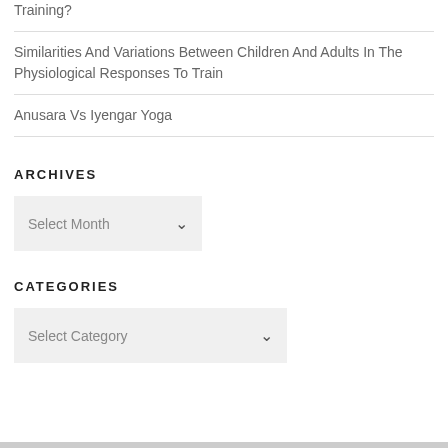Training?
Similarities And Variations Between Children And Adults In The Physiological Responses To Train
Anusara Vs Iyengar Yoga
ARCHIVES
Select Month
CATEGORIES
Select Category